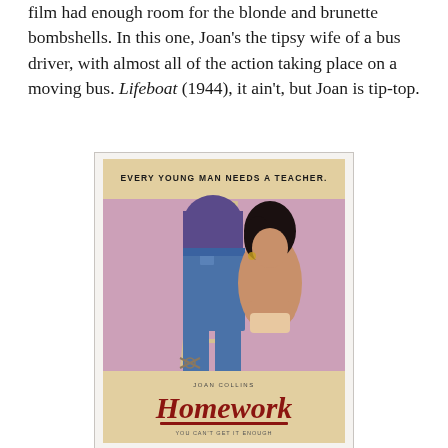film had enough room for the blonde and brunette bombshells. In this one, Joan's the tipsy wife of a bus driver, with almost all of the action taking place on a moving bus. Lifeboat (1944), it ain't, but Joan is tip-top.
[Figure (photo): Movie poster for 'Homework' featuring Joan Collins. Top banner reads 'EVERY YOUNG MAN NEEDS A TEACHER.' on a cream/tan background. The main poster area has a pink/lavender background with illustrated figures. Bottom cream banner shows 'JOAN COLLINS' and the stylized red cursive title 'Homework' with an underline, and partially visible text 'YOU CAN'T GET IT ENOUGH' at the very bottom.]